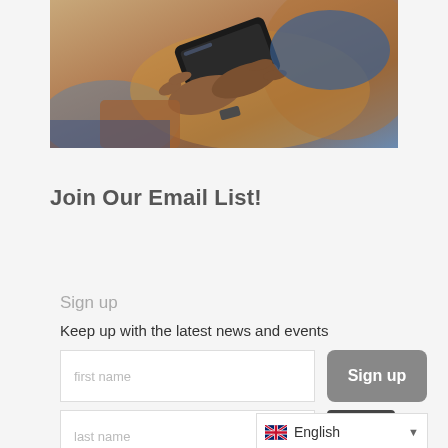[Figure (photo): Photo of two people's hands holding a smartphone, one wearing a blue sleeve, with a brown bag visible in the background.]
Join Our Email List!
Sign up
Keep up with the latest news and events
[Figure (screenshot): Web form with first name input field, last name input field, a gray 'Sign up' button, a dark back-to-top arrow button, and an English language selector bar.]